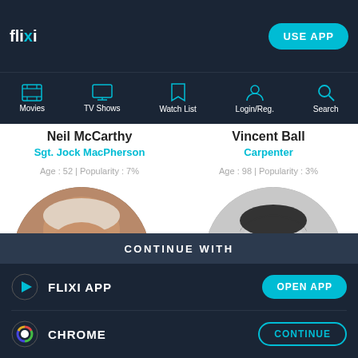flixi — USE APP
[Figure (screenshot): Navigation bar with icons: Movies, TV Shows, Watch List, Login/Reg., Search]
Neil McCarthy
Sgt. Jock MacPherson
Age : 52 | Popularity : 7%
Vincent Ball
Carpenter
Age : 98 | Popularity : 3%
[Figure (photo): Color photo of Neil McCarthy, an older man with short gray hair]
[Figure (photo): Black and white photo of Vincent Ball, a younger man in a suit]
CONTINUE WITH
FLIXI APP
OPEN APP
CHROME
CONTINUE